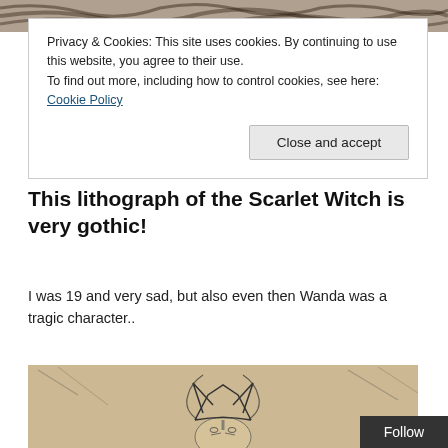[Figure (illustration): Top portion of a pencil/charcoal drawing of hair, partially cropped at top of page]
Privacy & Cookies: This site uses cookies. By continuing to use this website, you agree to their use.
To find out more, including how to control cookies, see here: Cookie Policy
Close and accept
This lithograph of the Scarlet Witch is very gothic!
I was 19 and very sad, but also even then Wanda was a tragic character..
[Figure (illustration): Pencil lithograph drawing of the Scarlet Witch (Wanda), showing her face with distinctive headpiece/crown, on aged paper background with expressive shading]
Follow